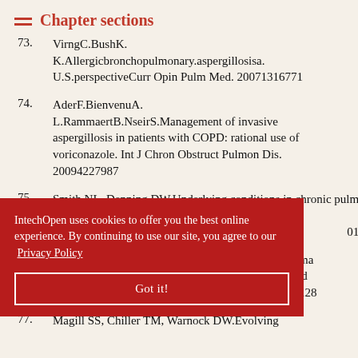Chapter sections
73. VirngC.BushK. K.Allergicbronchopulmonary.aspergillosisa. U.S.perspectiveCurr Opin Pulm Med. 20071316771
74. AderF.BienvenuA. L.RammaertB.NseirS.Management of invasive aspergillosis in patients with COPD: rational use of voriconazole. Int J Chron Obstruct Pulmon Dis. 20094227987
75. Smith NL, Denning DW.Underlying conditions in chronic pulmonary aspergillosis including ...01137486572
76. ...aspergilloma ...nfected and ...09711136128
77. Magill SS, Chiller TM, Warnock DW.Evolving
IntechOpen uses cookies to offer you the best online experience. By continuing to use our site, you agree to our Privacy Policy